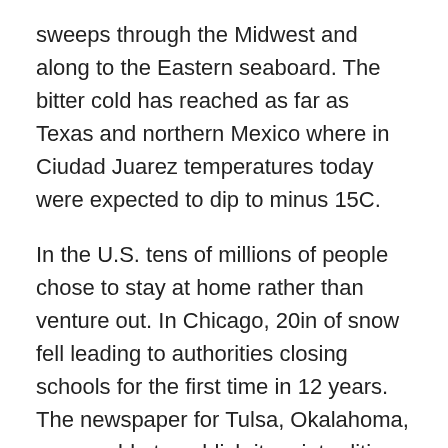sweeps through the Midwest and along to the Eastern seaboard. The bitter cold has reached as far as Texas and northern Mexico where in Ciudad Juarez temperatures today were expected to dip to minus 15C.
In the U.S. tens of millions of people chose to stay at home rather than venture out. In Chicago, 20in of snow fell leading to authorities closing schools for the first time in 12 years. The newspaper for Tulsa, Okalahoma, was unable to publish its print edition for the first time in more than a century.
This particular storm is the result from two clashing air masses which, if not unprecedented, is extraordinarily rare for its size and ferocious strength.
‘A storm that produces a swath of 20in snow is really